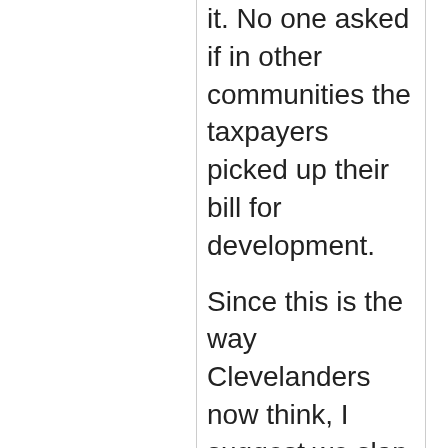it. No one asked if in other communities the taxpayers picked up their bill for development.
Since this is the way Clevelanders now think, I suggest we slap on another quarter cent for Doug Price and another for Wolstein and even more for Dick Jacobs. Just think of the jobs we could fund with construction